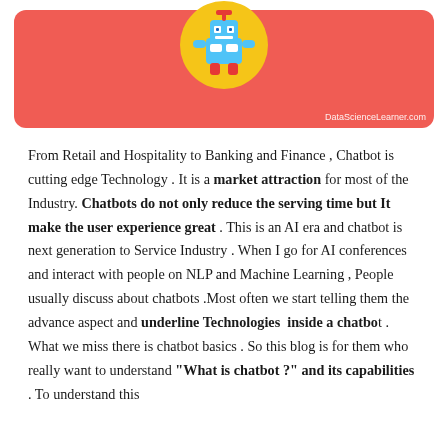[Figure (illustration): Robot illustration on a yellow circle over a coral/red rounded rectangle banner with 'DataScienceLearner.com' watermark]
From Retail and Hospitality to Banking and Finance , Chatbot is cutting edge Technology . It is a market attraction for most of the Industry. Chatbots do not only reduce the serving time but It make the user experience great . This is an AI era and chatbot is next generation to Service Industry . When I go for AI conferences and interact with people on NLP and Machine Learning , People usually discuss about chatbots .Most often we start telling them the advance aspect and underline Technologies inside a chatbot . What we miss there is chatbot basics . So this blog is for them who really want to understand "What is chatbot ?" and its capabilities . To understand this